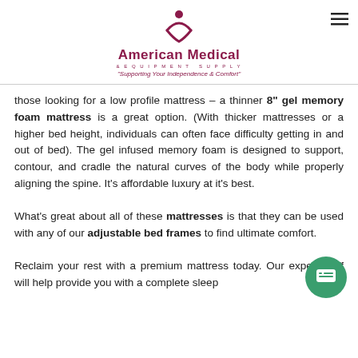[Figure (logo): American Medical & Equipment Supply logo with figure icon and tagline 'Supporting Your Independence & Comfort']
those looking for a low profile mattress – a thinner 8" gel memory foam mattress is a great option. (With thicker mattresses or a higher bed height, individuals can often face difficulty getting in and out of bed). The gel infused memory foam is designed to support, contour, and cradle the natural curves of the body while properly aligning the spine. It's affordable luxury at it's best.
What's great about all of these mattresses is that they can be used with any of our adjustable bed frames to find ultimate comfort.
Reclaim your rest with a premium mattress today. Our expert staff will help provide you with a complete sleep